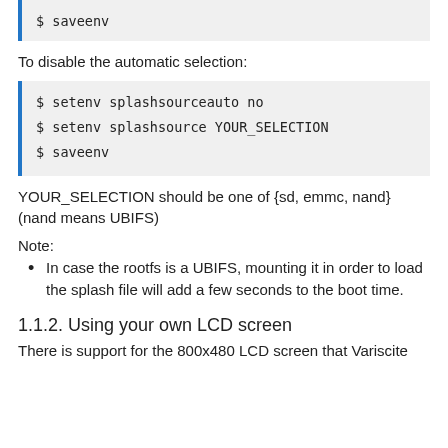$ saveenv
To disable the automatic selection:
$ setenv splashsourceauto no
$ setenv splashsource YOUR_SELECTION
$ saveenv
YOUR_SELECTION should be one of {sd, emmc, nand} (nand means UBIFS)
Note:
In case the rootfs is a UBIFS, mounting it in order to load the splash file will add a few seconds to the boot time.
1.1.2. Using your own LCD screen
There is support for the 800x480 LCD screen that Variscite